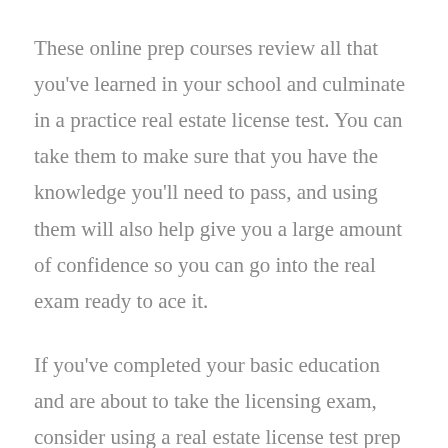These online prep courses review all that you've learned in your school and culminate in a practice real estate license test. You can take them to make sure that you have the knowledge you'll need to pass, and using them will also help give you a large amount of confidence so you can go into the real exam ready to ace it.
If you've completed your basic education and are about to take the licensing exam, consider using a real estate license test prep course first. It could make a huge difference in your test results and help ensure that you're able to pass and start working as a licensed real estate